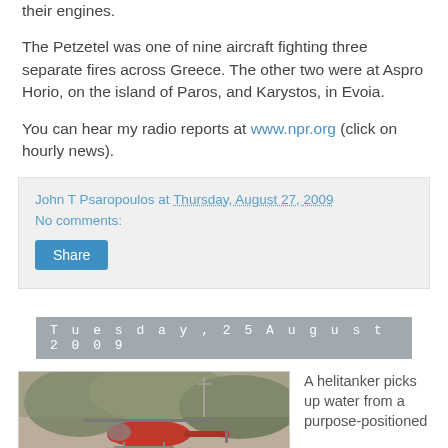their engines.
The Petzetel was one of nine aircraft fighting three separate fires across Greece. The other two were at Aspro Horio, on the island of Paros, and Karystos, in Evoia.
You can hear my radio reports at www.npr.org (click on hourly news).
John T Psaropoulos at Thursday, August 27, 2009
No comments:
Share
Tuesday, 25 August 2009
[Figure (photo): A red helicopter (helitanker) hovering low, with trees and hillside in the background.]
A helitanker picks up water from a purpose-positioned